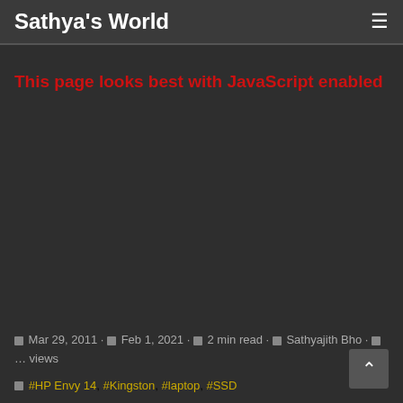Sathya's World
This page looks best with JavaScript enabled
Mar 29, 2011 · Feb 1, 2021 · 2 min read · Sathyajith Bho · ... views
#HP Envy 14 #Kingston #laptop #SSD